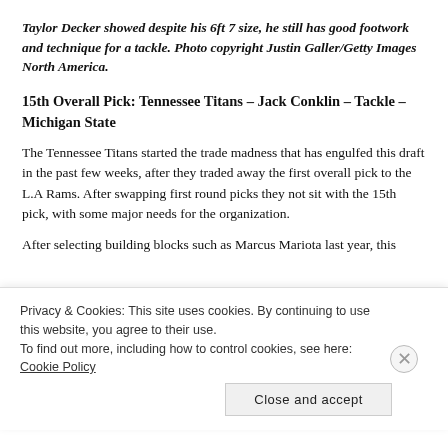Taylor Decker showed despite his 6ft 7 size, he still has good footwork and technique for a tackle. Photo copyright Justin Galler/Getty Images North America.
15th Overall Pick: Tennessee Titans – Jack Conklin – Tackle – Michigan State
The Tennessee Titans started the trade madness that has engulfed this draft in the past few weeks, after they traded away the first overall pick to the L.A Rams. After swapping first round picks they not sit with the 15th pick, with some major needs for the organization.
After selecting building blocks such as Marcus Mariota last year, this
Privacy & Cookies: This site uses cookies. By continuing to use this website, you agree to their use.
To find out more, including how to control cookies, see here: Cookie Policy